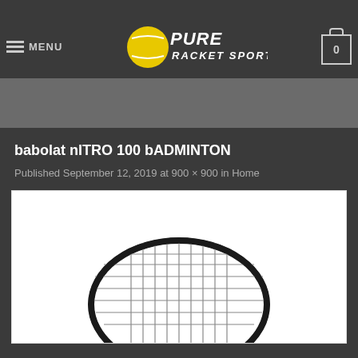Pure Racket Sport — MENU | social icons (Facebook, Twitter, Instagram) | cart 0
babolat nITRO 100 bADMINTON
Published September 12, 2019 at 900 × 900 in Home
[Figure (photo): Partial photo of a badminton racket (head/strings visible) on white background — babolat nITRO 100 product image]